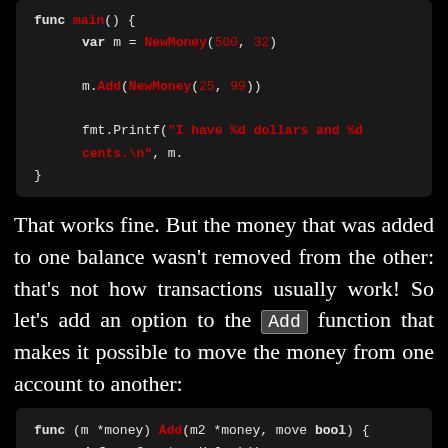[Figure (screenshot): Code block showing Go main() function with NewMoney and Add calls]
That works fine. But the money that was added to one balance wasn't removed from the other: that's not how transactions usually work! So let's add an option to the Add function that makes it possible to move the money from one account to another:
[Figure (screenshot): Code block showing Go func (m *money) Add(m2 *money, move bool) with defer statements]